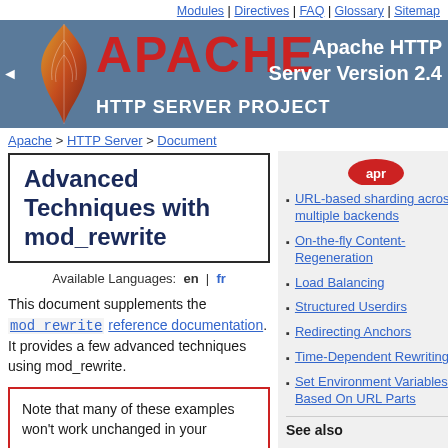Modules | Directives | FAQ | Glossary | Sitemap
[Figure (logo): Apache HTTP Server Project banner with feather logo and red APACHE text on dark blue background, Apache HTTP Server Version 2.4]
Apache > HTTP Server > Document
Advanced Techniques with mod_rewrite
Available Languages: en | fr
This document supplements the mod_rewrite reference documentation. It provides a few advanced techniques using mod_rewrite.
Note that many of these examples won't work unchanged in your
URL-based sharding across multiple backends
On-the-fly Content-Regeneration
Load Balancing
Structured Userdirs
Redirecting Anchors
Time-Dependent Rewriting
Set Environment Variables Based On URL Parts
See also